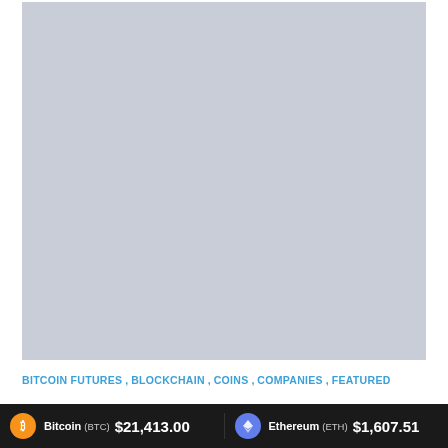[Figure (other): Large light gray placeholder image area]
BITCOIN FUTURES , BLOCKCHAIN , COINS , COMPANIES , FEATURED
Bitcoin (BTC) $21,413.00   Ethereum (ETH) $1,607.51